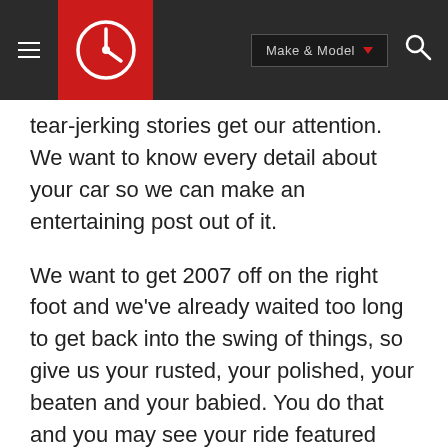Make & Model
tear-jerking stories get our attention. We want to know every detail about your car so we can make an entertaining post out of it.
We want to get 2007 off on the right foot and we've already waited too long to get back into the swing of things, so give us your rusted, your polished, your beaten and your babied. You do that and you may see your ride featured here.
How to submit to RR of the Day:
Create a Flickr account if you don't already have one. Search for and join the group called ' Autoblog RR of the Day '. Upload up to three photos of your ride to your own account at a size no larger than 450 pixels wide if possible